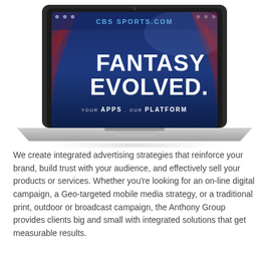[Figure (photo): A laptop computer displaying a sports/fantasy sports web application screen with the text 'FANTASY EVOLVED' and 'YOUR APPS, OUR PLATFORM', featuring imagery of athletes (football player, baseball player, basketball player) against a dark blue stadium backdrop with 'CBS SPORTS.COM' branding.]
We create integrated advertising strategies that reinforce your brand, build trust with your audience, and effectively sell your products or services. Whether you're looking for an on-line digital campaign, a Geo-targeted mobile media strategy, or a traditional print, outdoor or broadcast campaign, the Anthony Group provides clients big and small with integrated solutions that get measurable results.